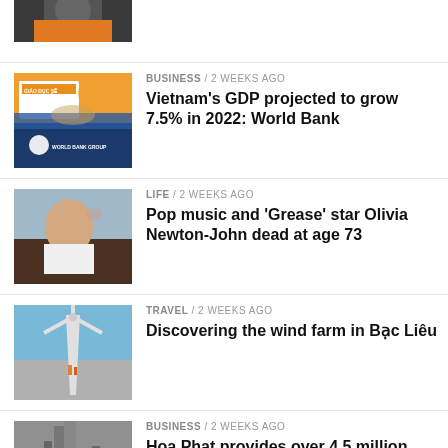[Figure (photo): Partial thumbnail of a person against an orange background, cropped at top]
[Figure (photo): World Bank Group presentation with speaker at podium, orange and blue branding]
BUSINESS / 2 weeks ago
Vietnam's GDP projected to grow 7.5% in 2022: World Bank
[Figure (photo): Olivia Newton-John waving to crowd at an event, wearing white top]
LIFE / 2 weeks ago
Pop music and 'Grease' star Olivia Newton-John dead at age 73
[Figure (photo): Wind turbine structures against blue sky with people visible near base]
TRAVEL / 2 weeks ago
Discovering the wind farm in Bạc Liêu
[Figure (photo): Industrial structure or oil rig equipment against sky]
BUSINESS / 2 weeks ago
Hoa Phat provides over 4.5 million tons of steel to the market after 7 months